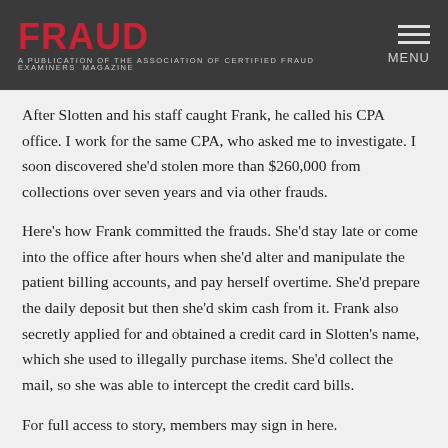FRAUD MAGAZINE | MENU
After Slotten and his staff caught Frank, he called his CPA office. I work for the same CPA, who asked me to investigate. I soon discovered she'd stolen more than $260,000 from collections over seven years and via other frauds.
Here's how Frank committed the frauds. She'd stay late or come into the office after hours when she'd alter and manipulate the patient billing accounts, and pay herself overtime. She'd prepare the daily deposit but then she'd skim cash from it. Frank also secretly applied for and obtained a credit card in Slotten's name, which she used to illegally purchase items. She'd collect the mail, so she was able to intercept the credit card bills.
For full access to story, members may sign in here.